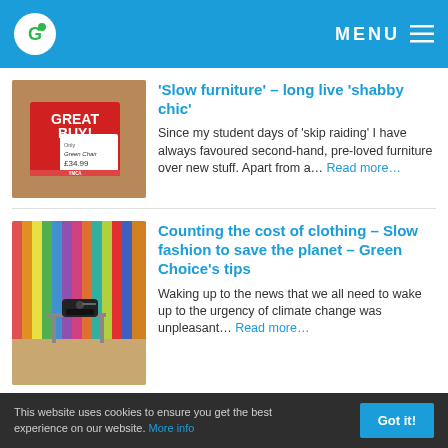G (logo) MENU
[Figure (photo): A red sign reading GREAT BUY! with a tag for 'Green Chair £34.99' from YMCA charity shop]
‘Slow furniture’ – long live ‘shabby chic’
Since my student days of ‘skip raiding’ I have always favoured second-hand, pre-loved furniture over new stuff. Apart from a... Read more...
[Figure (photo): A sewing machine on a table surrounded by colourful hanging fabric rolls in a textile workshop]
Counting the cost of clothing – Slow fashion to save the planet – Green Choice’s tips
Waking up to the news that we all need to wake up to the urgency of climate change was unpleasant... Read more...
This website uses cookies to ensure you get the best experience on our website. More info  Got it!